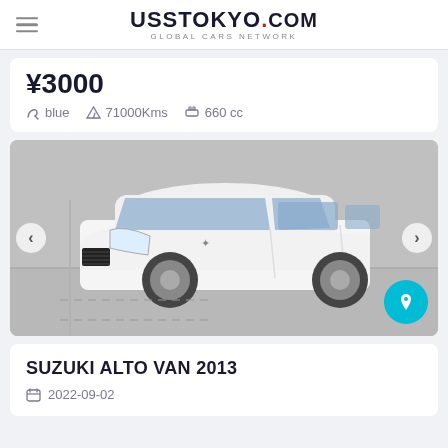UssTokyo.com — Global Cars Network
¥3000
blue   71000Kms   660 cc
[Figure (photo): White Suzuki Alto Van 2013 parked in an auction lot, front-left view, with navigation arrows on both sides and a bookmark button at bottom right.]
SUZUKI ALTO VAN 2013
2022-09-02